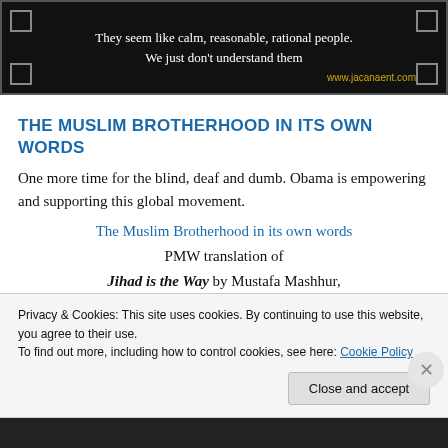[Figure (illustration): Black background banner image with white text: 'They seem like calm, reasonable, rational people. We just don't understand them' and yellow URL 'www.jacanaent.com' at bottom right, with decorative corner boxes.]
THE MUSLIM BROTHERHOOD IN ITS OWN WORDS
One more time for the blind, deaf and dumb. Obama is empowering and supporting this global movement.
The Muslim Brotherhood in its own words
PMW translation of
Jihad is the Way by Mustafa Mashhur,
leader of the Muslim Brotherhood in Egypt,
Privacy & Cookies: This site uses cookies. By continuing to use this website, you agree to their use.
To find out more, including how to control cookies, see here: Cookie Policy
Close and accept